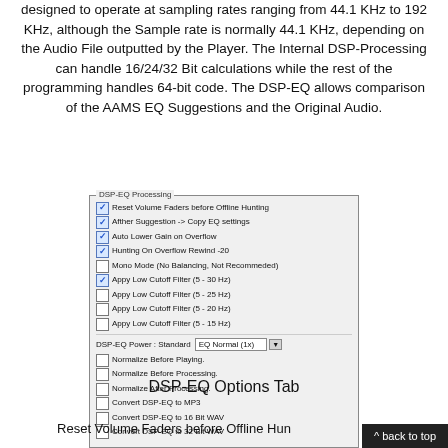designed to operate at sampling rates ranging from 44.1 KHz to 192 KHz, although the Sample rate is normally 44.1 KHz, depending on the Audio File outputted by the Player. The Internal DSP-Processing can handle 16/24/32 Bit calculations while the rest of the programming handles 64-bit code. The DSP-EQ allows comparison of the AAMS EQ Suggestions and the Original Audio.
[Figure (screenshot): DSP-EQ Processing options panel with checkboxes and dropdown. Checked: Reset Volume Faders before Offline Hunting, Afther Suggestion -> Copy EQ settings, Auto Lower Gain on Overflow, Hunting On Overflow Rewind -20, Appy Low Cutoff Filter (5 - 30 Hz). Unchecked: Mono Mode (No Balancing, Not Recommeded), Appy Low Cutoff Filter (5 - 25 Hz), Appy Low Cutoff Filter (5 - 20 Hz), Appy Low Cutoff Filter (5 - 15 Hz). DSP-EQ Power: Standard dropdown showing EQ Normal (1x). Unchecked: Normalize Before Playing, Normalize Before Processing, Normalize After Processing, Convert DSP-EQ to MP3, Convert DSP-EQ to 16 Bit WAV, Convert DSP-EQ to 32 Bit WAV.]
DSP-EQ Options Tab
Reset Volume Faders before Offline Hun...